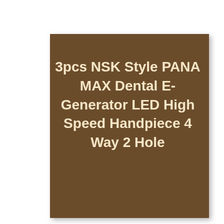3pcs NSK Style PANA MAX Dental E-Generator LED High Speed Handpiece 4 Way 2 Hole